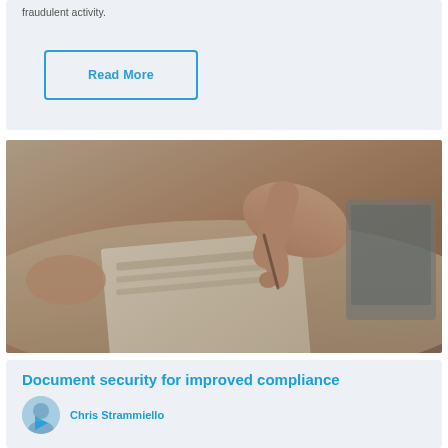fraudulent activity.
Read More
[Figure (photo): Close-up photo of hands writing or signing a document on a desk, with a laptop visible in the background. Warm beige/brown tones.]
Document security for improved compliance
Chris Strammiello